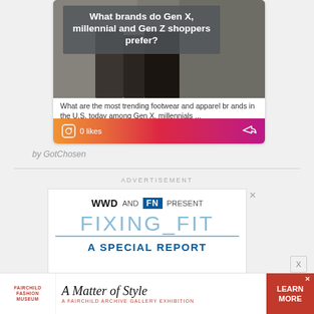[Figure (screenshot): Instagram social card with title overlay: 'What brands do Gen X, millennial and Gen Z shoppers prefer?' over a shopping image with gradient footer showing 0 likes]
What are the most trending footwear and apparel brands in the U.S. today among Gen X, millennials ...
4 days ago
[Figure (screenshot): Partially visible Facebook card showing 'True Tho... st shared' with blue footer showing 0 likes]
True Tho... st shared
1 day ago
by GotChosen
ADVERTISEMENT
[Figure (screenshot): Advertisement: WWD AND FN PRESENT FIXING_FIT A SPECIAL REPORT]
[Figure (screenshot): Banner ad: Fairchild Fashion Museum - A Matter of Style - A Fairchild Archive Gallery Exhibition - LEARN MORE]